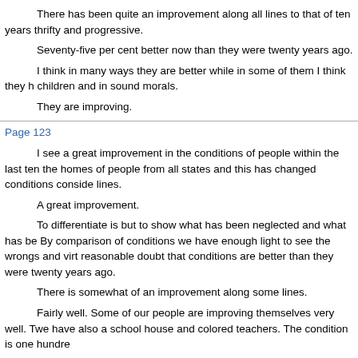There has been quite an improvement along all lines to that of ten years thrifty and progressive.
Seventy-five per cent better now than they were twenty years ago.
I think in many ways they are better while in some of them I think they h children and in sound morals.
They are improving.
Page 123
I see a great improvement in the conditions of people within the last ten the homes of people from all states and this has changed conditions conside lines.
A great improvement.
To differentiate is but to show what has been neglected and what has be By comparison of conditions we have enough light to see the wrongs and virt reasonable doubt that conditions are better than they were twenty years ago.
There is somewhat of an improvement along some lines.
Fairly well. Some of our people are improving themselves very well. Twe have also a school house and colored teachers. The condition is one hundre
Much better. One hundred per cent at least.
The way I understand it our churches twenty years ago were doing as m